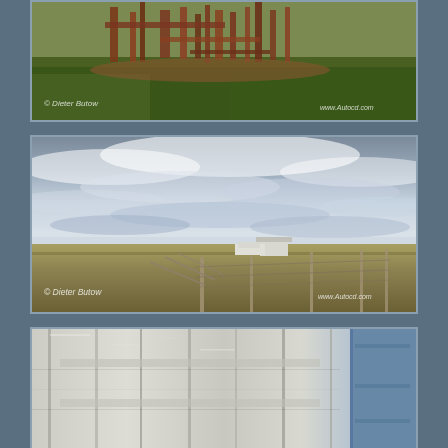[Figure (photo): Landscape photo showing rusted farm machinery and metal structures on green grassy plains. Watermark: '© Dieter Butow' bottom-left and 'www.Autocd.com' bottom-right.]
[Figure (photo): Wide-angle landscape photo of open plains under a dramatic cloudy sky. A white vehicle and small shed/building visible in the middle distance, with fence posts in the foreground. Watermark: '© Dieter Butow' bottom-left and 'www.Autocd.com' bottom-right.]
[Figure (photo): Close-up photo of weathered white painted wooden planks or door panels, with a blue element visible on the right side. Partially cropped at bottom of page.]